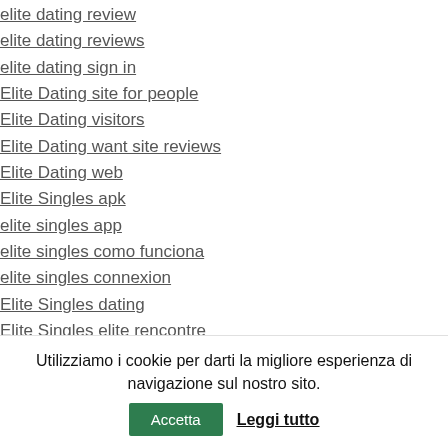elite dating review
elite dating reviews
elite dating sign in
Elite Dating site for people
Elite Dating visitors
Elite Dating want site reviews
Elite Dating web
Elite Singles apk
elite singles app
elite singles como funciona
elite singles connexion
Elite Singles dating
Elite Singles elite rencontre
Elite Singles empathieverlust
Elite singles es gratis?
elite singles freie Superkrafte
Utilizziamo i cookie per darti la migliore esperienza di navigazione sul nostro sito. Accetta Leggi tutto